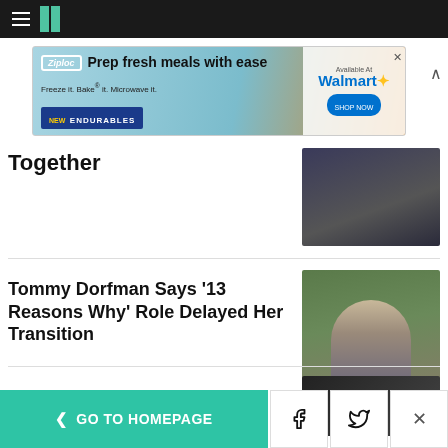[Figure (screenshot): HuffPost website navigation bar with hamburger menu and logo]
[Figure (photo): Ziploc advertisement banner - Prep fresh meals with ease, Freeze it. Bake it. Microwave it. New Endurables. Available at Walmart.]
Together
[Figure (photo): Partial thumbnail of person in dark clothing]
Tommy Dorfman Says '13 Reasons Why' Role Delayed Her Transition
[Figure (photo): Tommy Dorfman photo - blonde woman in grey cardigan in front of green foliage background]